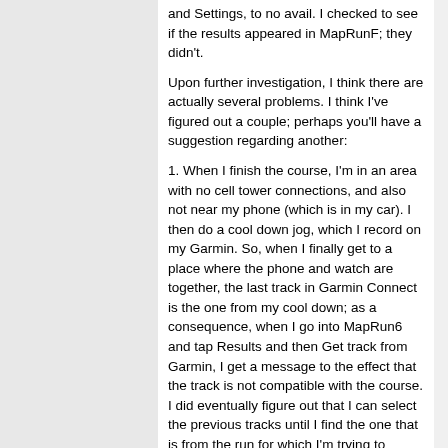and Settings, to no avail. I checked to see if the results appeared in MapRunF; they didn't.
Upon further investigation, I think there are actually several problems. I think I've figured out a couple; perhaps you'll have a suggestion regarding another:
1. When I finish the course, I'm in an area with no cell tower connections, and also not near my phone (which is in my car). I then do a cool down jog, which I record on my Garmin. So, when I finally get to a place where the phone and watch are together, the last track in Garmin Connect is the one from my cool down; as a consequence, when I go into MapRun6 and tap Results and then Get track from Garmin, I get a message to the effect that the track is not compatible with the course. I did eventually figure out that I can select the previous tracks until I find the one that is from the run for which I'm trying to display the results.
2. Alas, there are further problems. I had run one course, I'll just call it Brown for short, and not gotten the results due to the problem above (hadn't yet figured out the proper way to resolve that one). Several days later, I selected a different course in MapRun6, call it Red, sent that to my watch, and got a Success! message. But when I went out to the event site, got into MapRunG on my watch and hit the select button on my watch, I got the following error message:
Problem...